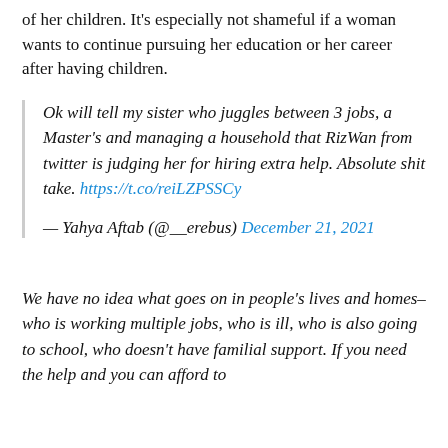of her children. It's especially not shameful if a woman wants to continue pursuing her education or her career after having children.
Ok will tell my sister who juggles between 3 jobs, a Master's and managing a household that RizWan from twitter is judging her for hiring extra help. Absolute shit take. https://t.co/reiLZPSSCy
— Yahya Aftab (@__erebus) December 21, 2021
We have no idea what goes on in people's lives and homes–who is working multiple jobs, who is ill, who is also going to school, who doesn't have familial support. If you need the help and you can afford to